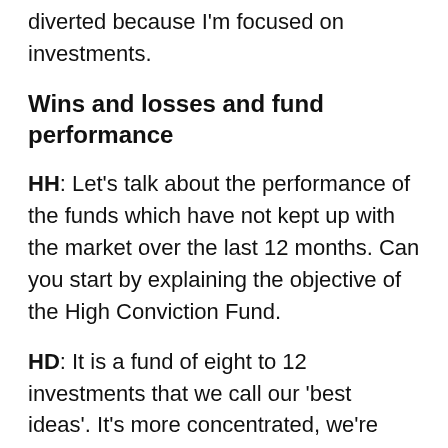diverted because I'm focused on investments.
Wins and losses and fund performance
HH: Let's talk about the performance of the funds which have not kept up with the market over the last 12 months. Can you start by explaining the objective of the High Conviction Fund.
HD: It is a fund of eight to 12 investments that we call our 'best ideas'. It's more concentrated, we're holding 10% to 15% positions. We've always said that you can get more volatility in the short term, but let's put this in the perspective of what compounding is all about. If we make a single investment of 10% of a fund, and it goes up five to 10 times, we'll make 50% to 100% return on the entire capital in a single investment. Microsoft is up 12 times since we invested and we've made huge returns on Facebook, Visa, MasterCard, Alphabet and Yum Brands over time.
So if we get a stock wrong and we put 10% of the fund in and it